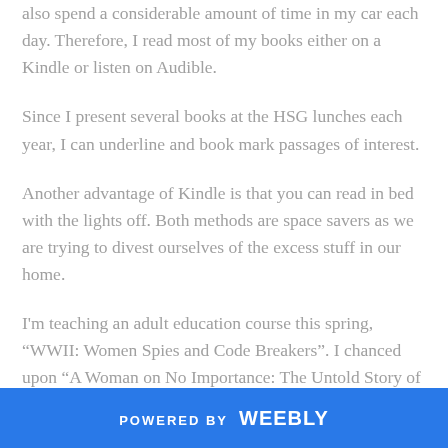also spend a considerable amount of time in my car each day. Therefore, I read most of my books either on a Kindle or listen on Audible.
Since I present several books at the HSG lunches each year, I can underline and book mark passages of interest.
Another advantage of Kindle is that you can read in bed with the lights off. Both methods are space savers as we are trying to divest ourselves of the excess stuff in our home.
I'm teaching an adult education course this spring, “WWII: Women Spies and Code Breakers”. I chanced upon “A Woman on No Importance: The Untold Story of
POWERED BY weebly